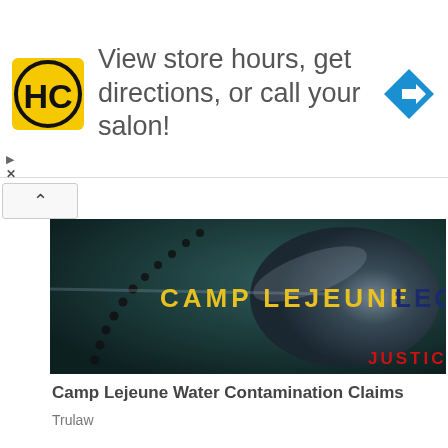[Figure (other): Advertisement banner with HC (Hair Club) logo, text 'View store hours, get directions, or call your salon!', and a blue diamond navigation arrow icon]
[Figure (photo): Military dog tags on a dark textured background with text 'CAMP LEJEUNE LEGAL' overlaid in yellow and dark blue, and 'JUSTIC' in red at lower right]
Camp Lejeune Water Contamination Claims
Trulaw